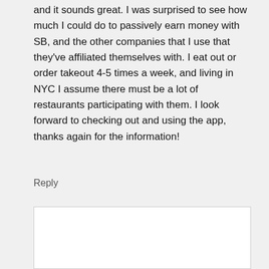and it sounds great. I was surprised to see how much I could do to passively earn money with SB, and the other companies that I use that they've affiliated themselves with. I eat out or order takeout 4-5 times a week, and living in NYC I assume there must be a lot of restaurants participating with them. I look forward to checking out and using the app, thanks again for the information!
Reply